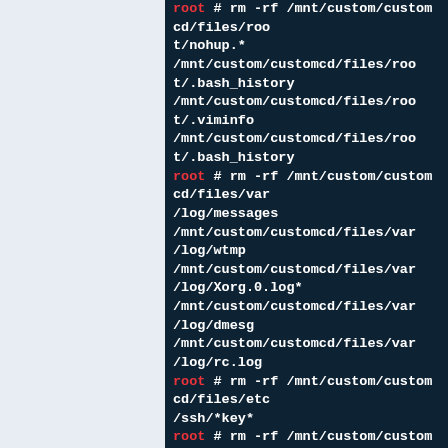[Figure (screenshot): Terminal/code block on dark teal background showing shell commands with 'root' prompts in red and command paths in white monospace font. Commands include rm -rf operations on /mnt/custom/customcd/files/ paths.]